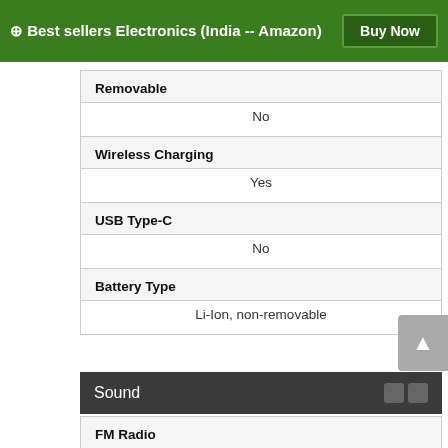⊕ Best sellers Electronics (India -- Amazon) | Buy Now
| Feature | Value |
| --- | --- |
| Removable | No |
| Wireless Charging | Yes |
| USB Type-C | No |
| Battery Type | Li-Ion, non-removable |
Sound
FM Radio